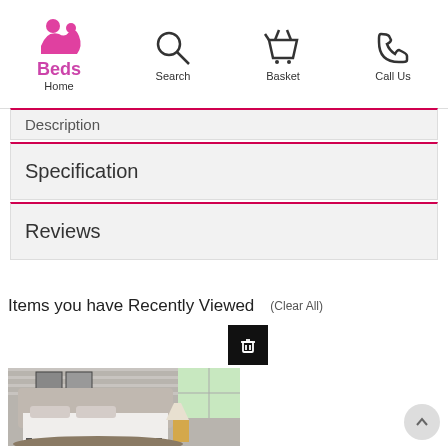I Like Beds — Home | Search | Basket | Call Us
Specification
Reviews
Items you have Recently Viewed (Clear All)
[Figure (photo): Photo of a modern upholstered bed frame in a bedroom setting with lamp and artwork on wall]